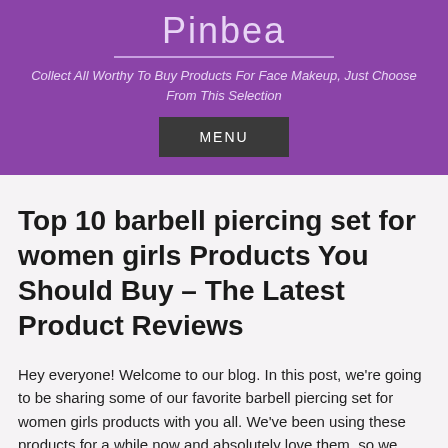Pinbea
Collect All Worthy To Buy Products For Face Makeup, Just Choose From This Selection
MENU
Top 10 barbell piercing set for women girls Products You Should Buy – The Latest Product Reviews
Hey everyone! Welcome to our blog. In this post, we're going to be sharing some of our favorite barbell piercing set for women girls products with you all. We've been using these products for a while now and absolutely love them, so we